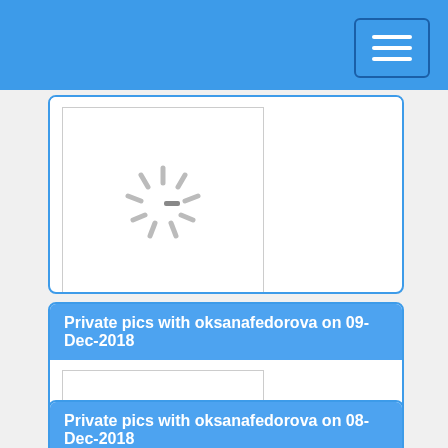Private pics with oksanafedorova on 09-Dec-2018
[Figure (screenshot): Loading spinner image placeholder with gray spinner icon on white background]
Private pics with oksanafedorova on 08-Dec-2018
[Figure (screenshot): Loading spinner image placeholder with gray spinner icon on white background]